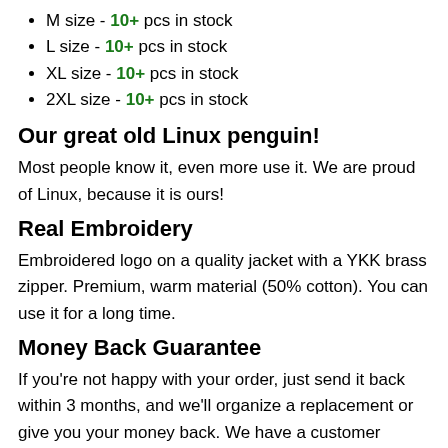M size - 10+ pcs in stock
L size - 10+ pcs in stock
XL size - 10+ pcs in stock
2XL size - 10+ pcs in stock
Our great old Linux penguin!
Most people know it, even more use it. We are proud of Linux, because it is ours!
Real Embroidery
Embroidered logo on a quality jacket with a YKK brass zipper. Premium, warm material (50% cotton). You can use it for a long time.
Money Back Guarantee
If you're not happy with your order, just send it back within 3 months, and we'll organize a replacement or give you your money back. We have a customer service that cares.
100% made with Linux
A long tradition in the Linux community, part of all our...